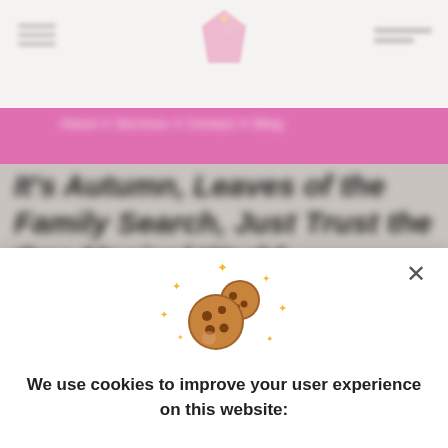[Figure (screenshot): Blurred website background showing a navigation bar with logo, a pink header band, and blurred italic bold title text on a grey background]
[Figure (illustration): Cookie emoji with sparkles, representing website cookies consent]
We use cookies to improve your user experience on this website: